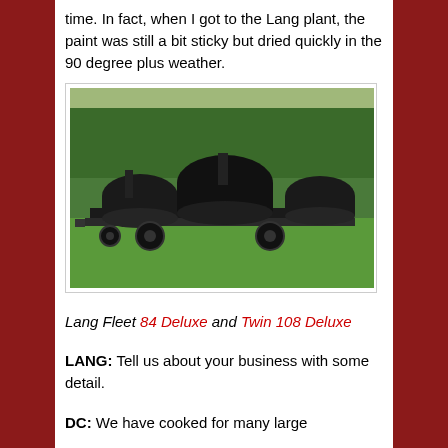time. In fact, when I got to the Lang plant, the paint was still a bit sticky but dried quickly in the 90 degree plus weather.
[Figure (photo): A large black Lang Fleet BBQ smoker setup on a trailer in a grassy area with trees in the background, consisting of multiple barrel-shaped smokers.]
Lang Fleet 84 Deluxe and Twin 108 Deluxe
LANG: Tell us about your business with some detail.
DC: We have cooked for many large